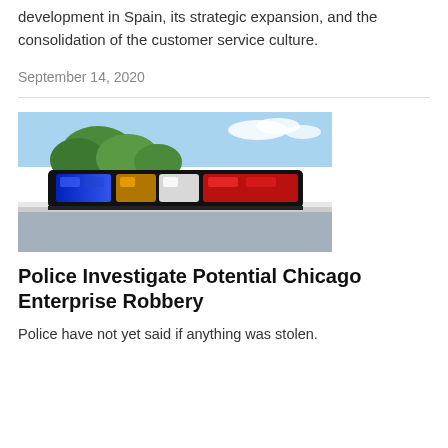development in Spain, its strategic expansion, and the consolidation of the customer service culture.
September 14, 2020
[Figure (photo): Close-up photo of a police car roof with blue and red light bar, trees and sky visible in background]
Police Investigate Potential Chicago Enterprise Robbery
Police have not yet said if anything was stolen.